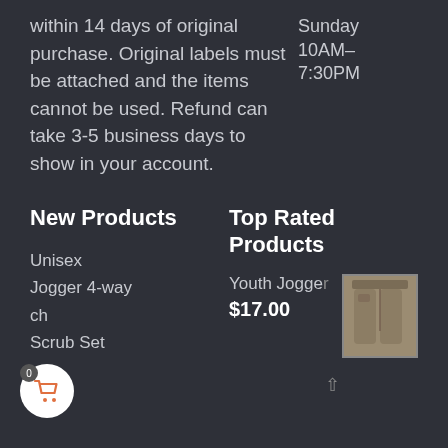within 14 days of original purchase. Original labels must be attached and the items cannot be used. Refund can take 3-5 business days to show in your account.
Sunday  10AM-7:30PM
New Products
Unisex
Jogger 4-way
ch
Scrub Set
Top Rated Products
Youth Jogger
$17.00